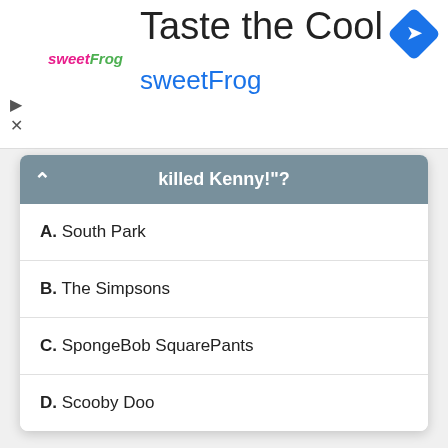[Figure (screenshot): sweetFrog advertisement banner with logo, 'Taste the Cool' title, and 'sweetFrog' subtitle in blue]
killed Kenny!"?
A. South Park
B. The Simpsons
C. SpongeBob SquarePants
D. Scooby Doo